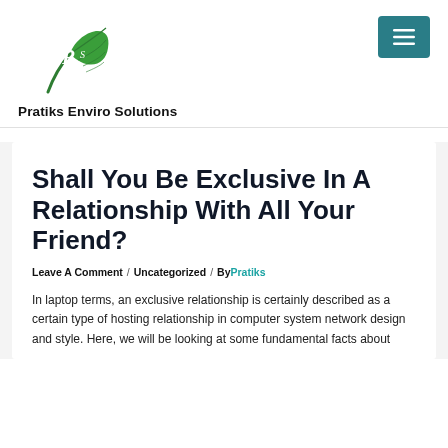[Figure (logo): Pratiks Enviro Solutions green leaf logo with PeS initials]
Pratiks Enviro Solutions
Shall You Be Exclusive In A Relationship With All Your Friend?
Leave A Comment / Uncategorized / By Pratiks
In laptop terms, an exclusive relationship is certainly described as a certain type of hosting relationship in computer system network design and style. Here, we will be looking at some fundamental facts about